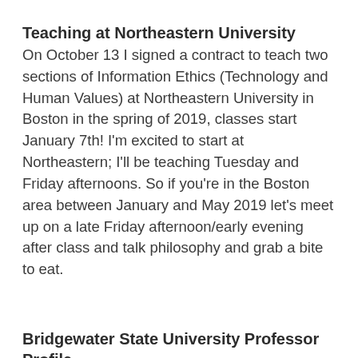Teaching at Northeastern University
On October 13 I signed a contract to teach two sections of Information Ethics (Technology and Human Values) at Northeastern University in Boston in the spring of 2019, classes start January 7th! I'm excited to start at Northeastern; I'll be teaching Tuesday and Friday afternoons. So if you're in the Boston area between January and May 2019 let's meet up on a late Friday afternoon/early evening after class and talk philosophy and grab a bite to eat.
Bridgewater State University Professor Profile
On September 3rd I was interviewed by Brian